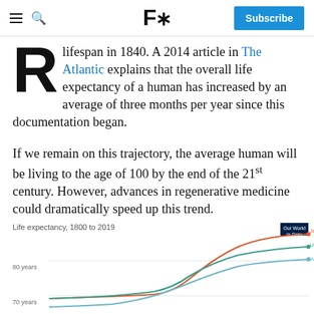F* | Subscribe
lifespan in 1840. A 2014 article in The Atlantic explains that the overall life expectancy of a human has increased by an average of three months per year since this documentation began.
If we remain on this trajectory, the average human will be living to the age of 100 by the end of the 21st century. However, advances in regenerative medicine could dramatically speed up this trend.
[Figure (line-chart): Line chart showing life expectancy from 1800 to 2019 for Japan, United States, and World. Japan reaches highest (~85), United States middle (~79), World lowest visible line (~72). Source: Our World in Data.]